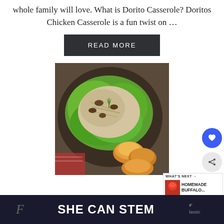whole family will love. What is Dorito Casserole? Doritos Chicken Casserole is a fun twist on …
READ MORE
[Figure (photo): Top-down photo of chicken salad served in a butter lettuce cup on a dark plate, garnished with dill and pecans, surrounded by croissants on a red and white cloth]
WHAT'S NEXT → HOMEMADE BUFFALO...
SHE CAN STEM